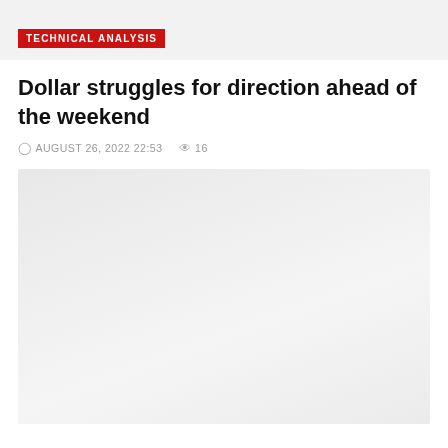TECHNICAL ANALYSIS
Dollar struggles for direction ahead of the weekend
AUGUST 26, 2022 22:53  16
[Figure (screenshot): Large image area placeholder, light grey background]